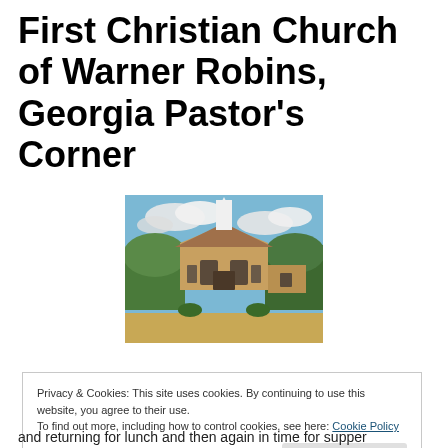First Christian Church of Warner Robins, Georgia Pastor's Corner
[Figure (photo): Exterior photo of First Christian Church of Warner Robins, Georgia — a brick church building with a white steeple, surrounded by trees under a partly cloudy sky]
Privacy & Cookies: This site uses cookies. By continuing to use this website, you agree to their use.
To find out more, including how to control cookies, see here: Cookie Policy
and returning for lunch and then again in time for supper